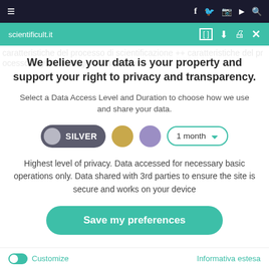scientificult.it
We believe your data is your property and support your right to privacy and transparency.
Select a Data Access Level and Duration to choose how we use and share your data.
[Figure (infographic): Privacy level selector with Silver pill button selected, gold circle, purple circle, and 1 month dropdown]
Highest level of privacy. Data accessed for necessary basic operations only. Data shared with 3rd parties to ensure the site is secure and works on your device
Save my preferences
Customize   Informativa estesa